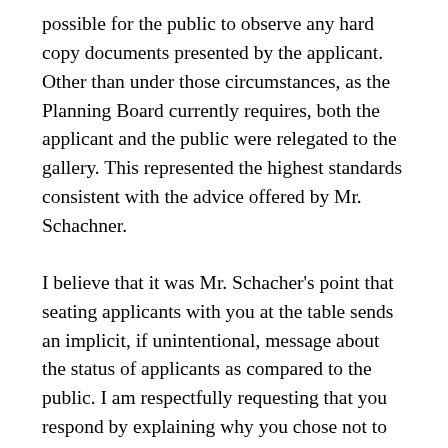possible for the public to observe any hard copy documents presented by the applicant. Other than under those circumstances, as the Planning Board currently requires, both the applicant and the public were relegated to the gallery. This represented the highest standards consistent with the advice offered by Mr. Schachner.
I believe that it was Mr. Schacher's point that seating applicants with you at the table sends an implicit, if unintentional, message about the status of applicants as compared to the public. I am respectfully requesting that you respond by explaining why you chose not to return to this policy but to continue to have applicants sit with you at the table during their presentation while relegating the